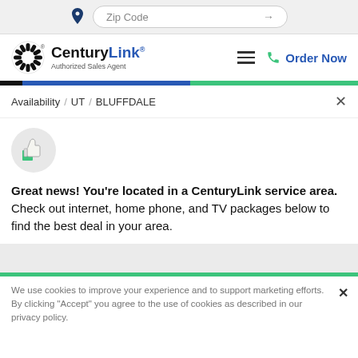Zip Code
[Figure (logo): CenturyLink Authorized Sales Agent logo with sunburst icon]
Order Now
Availability / UT / BLUFFDALE
[Figure (illustration): Thumbs up icon with green square background]
Great news! You’re located in a CenturyLink service area. Check out internet, home phone, and TV packages below to find the best deal in your area.
We use cookies to improve your experience and to support marketing efforts. By clicking "Accept" you agree to the use of cookies as described in our privacy policy.